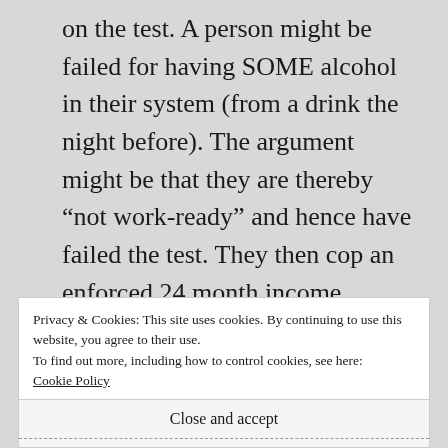on the test. A person might be failed for having SOME alcohol in their system (from a drink the night before). The argument might be that they are thereby “not work-ready” and hence have failed the test. They then cop an enforced 24 month income management plan from Indue.

Great work Melanie. Cheers
Privacy & Cookies: This site uses cookies. By continuing to use this website, you agree to their use.
To find out more, including how to control cookies, see here: Cookie Policy
Close and accept